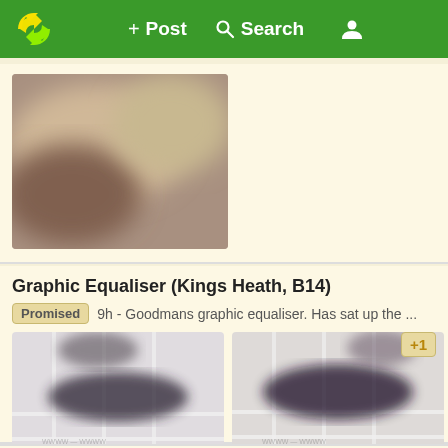+ Post  Q Search  [user icon]
[Figure (photo): Blurred/out-of-focus product photo showing indistinct brownish object against light background]
Graphic Equaliser (Kings Heath, B14)
Promised  9h - Goodmans graphic equaliser. Has sat up the ...
[Figure (photo): Two thumbnail photos of a Goodmans graphic equaliser in a box, viewed from above. Both images are blurred/out-of-focus. A '+1' badge appears to the right.]